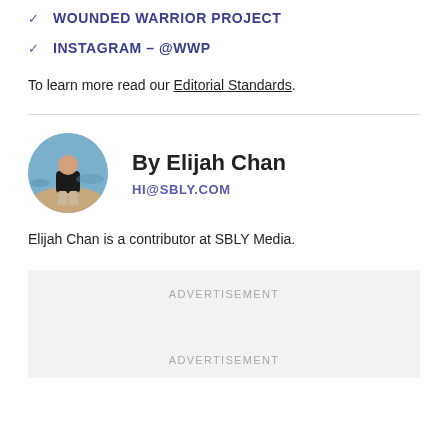WOUNDED WARRIOR PROJECT
INSTAGRAM – @WWP
To learn more read our Editorial Standards.
[Figure (photo): Circular profile photo of Elijah Chan standing on rocky shoreline with ocean in the background]
By Elijah Chan
HI@SBLY.COM
Elijah Chan is a contributor at SBLY Media.
ADVERTISEMENT
ADVERTISEMENT